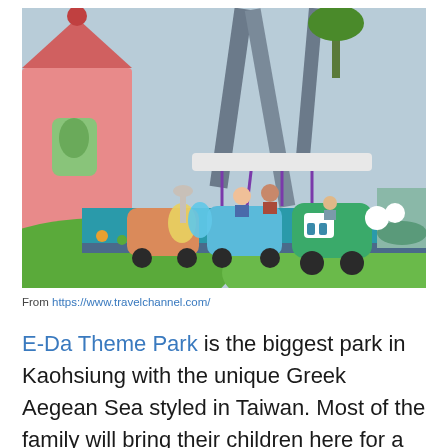[Figure (photo): A colorful theme park ride showing a caterpillar-style train with families seated in it, passing by playful themed scenery including a large pink house and green hills.]
From https://www.travelchannel.com/
E-Da Theme Park is the biggest park in Kaohsiung with the unique Greek Aegean Sea styled in Taiwan. Most of the family will bring their children here for a wonderful experience. Kaohsiung...